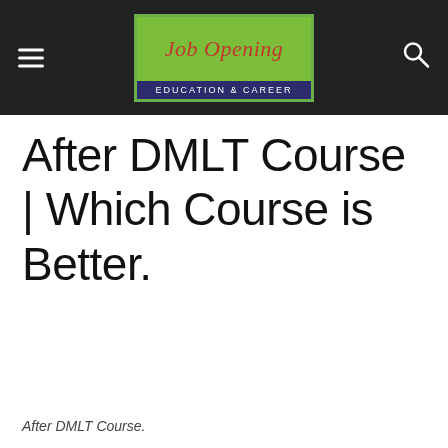Job Opening – Education & Career
After DMLT Course | Which Course is Better.
After DMLT Course.